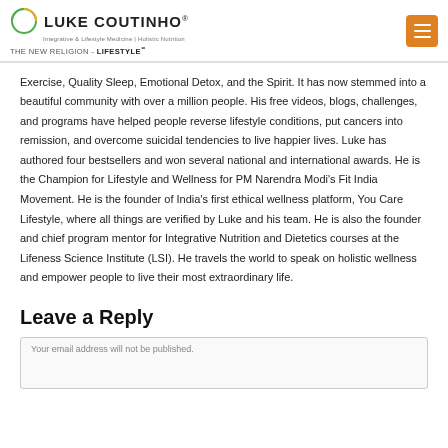LUKE COUTINHO® | Integrative & Lifestyle Medicine | Holistic Nutrition | THE NEW RELIGION - LIFESTYLE℠
Exercise, Quality Sleep, Emotional Detox, and the Spirit. It has now stemmed into a beautiful community with over a million people. His free videos, blogs, challenges, and programs have helped people reverse lifestyle conditions, put cancers into remission, and overcome suicidal tendencies to live happier lives. Luke has authored four bestsellers and won several national and international awards. He is the Champion for Lifestyle and Wellness for PM Narendra Modi's Fit India Movement. He is the founder of India's first ethical wellness platform, You Care Lifestyle, where all things are verified by Luke and his team. He is also the founder and chief program mentor for Integrative Nutrition and Dietetics courses at the Lifeness Science Institute (LSI). He travels the world to speak on holistic wellness and empower people to live their most extraordinary life.
Leave a Reply